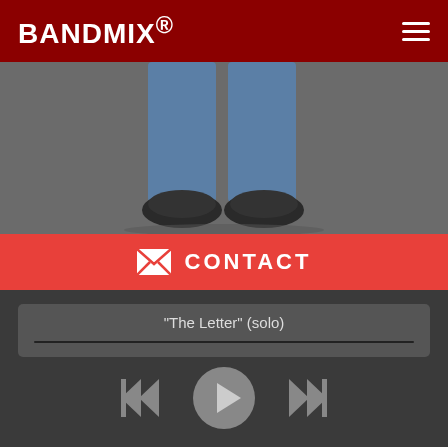BANDMIX®
[Figure (photo): Cropped photo showing lower body of a person wearing jeans and dark shoes, standing against a grey background]
✉ CONTACT
[Figure (other): Audio player showing track 'The Letter' (solo) with playback controls: skip-back, play, skip-forward]
NEW YORK, NEW YORK, 10001
70 YEAR OLD MALE | ACTIVE WITHIN 1 MONTH | ID#: 303070
MUSICIAN | ALTERNATIVE, PUNK, ROCK, AMERICANA